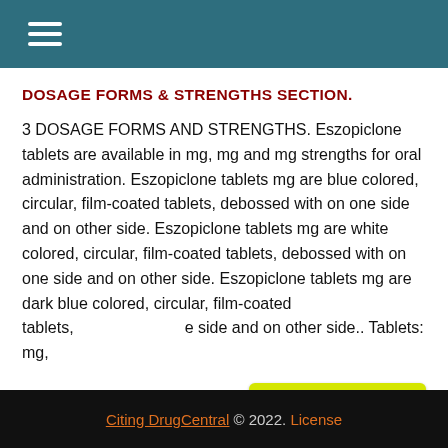≡
DOSAGE FORMS & STRENGTHS SECTION.
3 DOSAGE FORMS AND STRENGTHS. Eszopiclone tablets are available in mg, mg and mg strengths for oral administration. Eszopiclone tablets mg are blue colored, circular, film-coated tablets, debossed with on one side and on other side. Eszopiclone tablets mg are white colored, circular, film-coated tablets, debossed with on one side and on other side. Eszopiclone tablets mg are dark blue colored, circular, film-coated tablets, debossed with on one side and on other side.. Tablets: mg,
[Figure (other): New Search button — yellow-green rounded rectangle with upward arrow icon and bold text 'New Search']
Citing DrugCentral © 2022. License